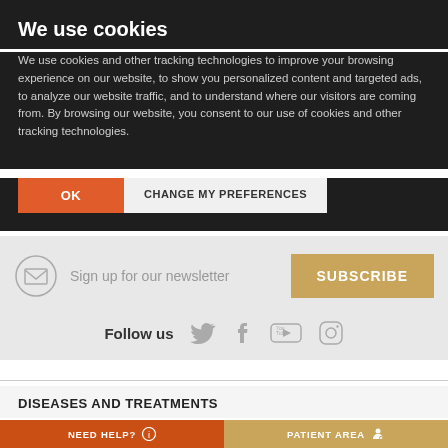We use cookies
We use cookies and other tracking technologies to improve your browsing experience on our website, to show you personalized content and targeted ads, to analyze our website traffic, and to understand where our visitors are coming from. By browsing our website, you consent to our use of cookies and other tracking technologies.
OK | CHANGE MY PREFERENCES
Sign up for our newsletter   SUBSCRIBE
Follow us
DISEASES AND TREATMENTS
NEED HELP?   PATIENT AREA